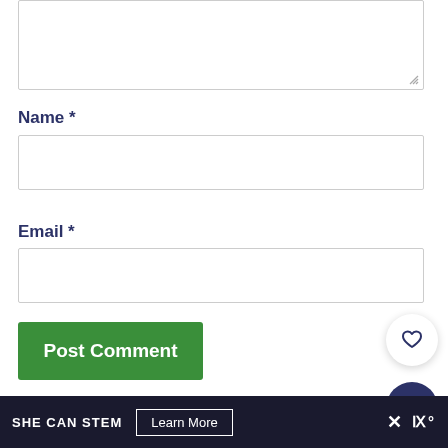[Figure (screenshot): Textarea input box (comment field), partially visible at top of page]
Name *
[Figure (screenshot): Name text input field]
Email *
[Figure (screenshot): Email text input field]
[Figure (screenshot): Post Comment button (green), heart icon button (white circle), search icon button (dark blue circle)]
This site uses Akismet to reduce spam. Learn how yo...
[Figure (screenshot): SHE CAN STEM banner footer with Learn More button and close X]
SHE CAN STEM   Learn More   ×